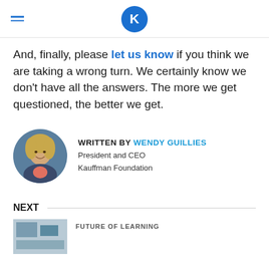Kauffman Foundation (K logo)
And, finally, please let us know if you think we are taking a wrong turn. We certainly know we don't have all the answers. The more we get questioned, the better we get.
[Figure (photo): Circular headshot photo of Wendy Guillies, a woman with blonde curly hair, smiling, wearing a dark blazer]
WRITTEN BY WENDY GUILLIES
President and CEO
Kauffman Foundation
NEXT
[Figure (photo): Thumbnail image for next article]
FUTURE OF LEARNING